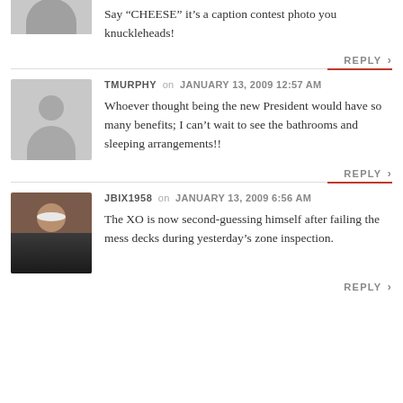Say “CHEESE” it’s a caption contest photo you knuckleheads!
REPLY
TMURPHY on JANUARY 13, 2009 12:57 AM
Whoever thought being the new President would have so many benefits; I can’t wait to see the bathrooms and sleeping arrangements!!
REPLY
JBIX1958 on JANUARY 13, 2009 6:56 AM
The XO is now second-guessing himself after failing the mess decks during yesterday’s zone inspection.
REPLY